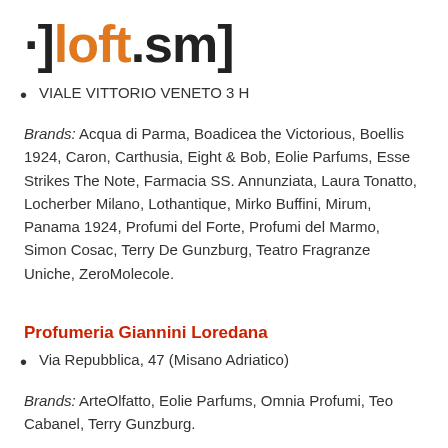[Figure (logo): ']loft.sm]' logo with orange and dark text]
VIALE VITTORIO VENETO 3 H
Brands: Acqua di Parma, Boadicea the Victorious, Boellis 1924, Caron, Carthusia, Eight & Bob, Eolie Parfums, Esse Strikes The Note, Farmacia SS. Annunziata, Laura Tonatto, Locherber Milano, Lothantique, Mirko Buffini, Mirum, Panama 1924, Profumi del Forte, Profumi del Marmo, Simon Cosac, Terry De Gunzburg, Teatro Fragranze Uniche, ZeroMolecole.
Profumeria Giannini Loredana
Via Repubblica, 47 (Misano Adriatico)
Brands: ArteOlfatto, Eolie Parfums, Omnia Profumi, Teo Cabanel, Terry Gunzburg.